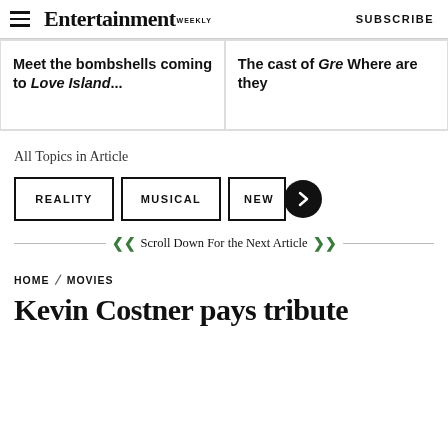Entertainment Weekly — SUBSCRIBE
Meet the bombshells coming to Love Island...
The cast of Gre Where are they
All Topics in Article
REALITY
MUSICAL
NEW
Scroll Down For the Next Article
HOME / MOVIES
Kevin Costner pays tribute